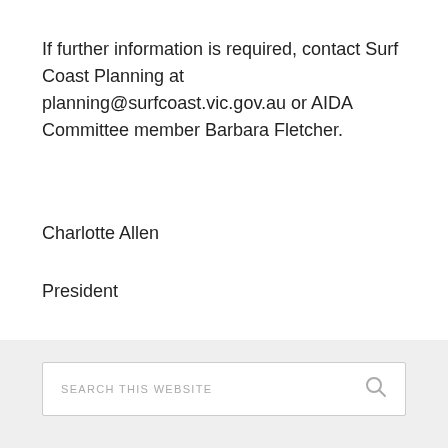If further information is required, contact Surf Coast Planning at planning@surfcoast.vic.gov.au or AIDA Committee member Barbara Fletcher.
Charlotte Allen
President
[Figure (screenshot): Search bar with placeholder text 'SEARCH THIS WEBSITE' and a magnifying glass icon on the right, on a light grey background.]